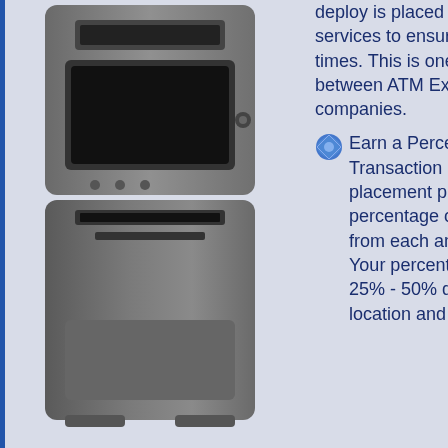[Figure (photo): Photo of a standalone ATM machine in dark grey/silver casing]
deploy is placed on armoured car cash services to ensure cash is available at all times. This is one huge difference between ATM Experts and most ATM companies.
Earn a Percentage of Each Transaction - By joining our free ATM placement program, you will earn a percentage of the surcharge revenue from each and every transaction. Your percentage can vary between 25% - 50% depending on the location and the surcharge total for